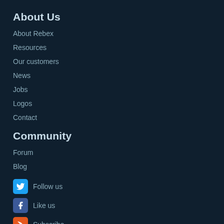About Us
About Rebex
Resources
Our customers
News
Jobs
Logos
Contact
Community
Forum
Blog
Follow us
Like us
Subscribe